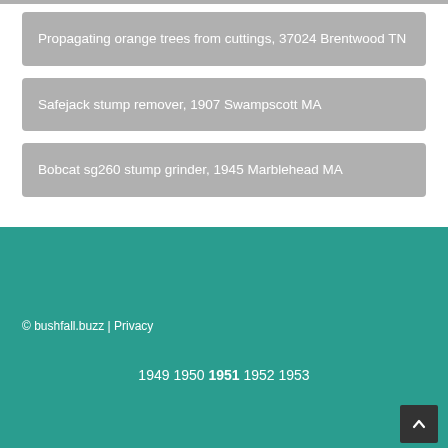Propagating orange trees from cuttings, 37024 Brentwood TN
Safejack stump remover, 1907 Swampscott MA
Bobcat sg260 stump grinder, 1945 Marblehead MA
© bushfall.buzz | Privacy
1949 1950 1951 1952 1953